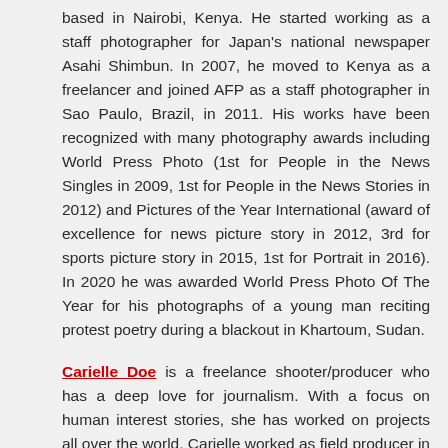based in Nairobi, Kenya. He started working as a staff photographer for Japan's national newspaper Asahi Shimbun. In 2007, he moved to Kenya as a freelancer and joined AFP as a staff photographer in Sao Paulo, Brazil, in 2011. His works have been recognized with many photography awards including World Press Photo (1st for People in the News Singles in 2009, 1st for People in the News Stories in 2012) and Pictures of the Year International (award of excellence for news picture story in 2012, 3rd for sports picture story in 2015, 1st for Portrait in 2016). In 2020 he was awarded World Press Photo Of The Year for his photographs of a young man reciting protest poetry during a blackout in Khartoum, Sudan.
Carielle Doe is a freelance shooter/producer who has a deep love for journalism. With a focus on human interest stories, she has worked on projects all over the world. Carielle worked as field producer in Liberia for ABC News throughout the Ebola crisis. Before Ebola, Carielle was a multimedia producer and consultant on projects for various news outlets, private companies, and non-governmental organizations. Carielle advanced past more than 40,000 other competitors to win the 2010 Your Big Year competition, which allowed her to travel to 16 countries as